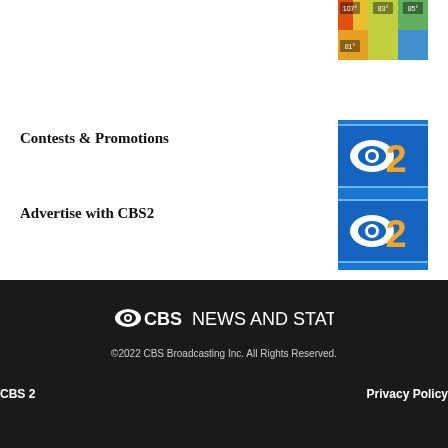[Figure (photo): Weather map thumbnail showing temperature colors in the top right corner]
Contests & Promotions
[Figure (logo): CBS2 logo - blue background with CBS eye logo and orange number 2]
Advertise with CBS2
[Figure (logo): CBS2 logo - blue background with CBS eye logo and orange number 2]
[Figure (logo): CBS News and Stations logo in footer]
©2022 CBS Broadcasting Inc. All Rights Reserved.
CBS 2
Privacy Policy